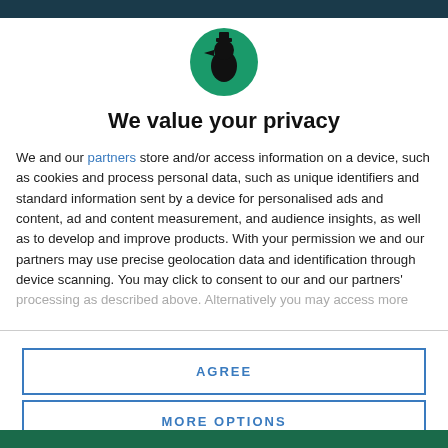[Figure (logo): Circular green logo with a black silhouette of a figure wearing a hat (appears to be a witch or duck-like profile)]
We value your privacy
We and our partners store and/or access information on a device, such as cookies and process personal data, such as unique identifiers and standard information sent by a device for personalised ads and content, ad and content measurement, and audience insights, as well as to develop and improve products. With your permission we and our partners may use precise geolocation data and identification through device scanning. You may click to consent to our and our partners' processing as described above. Alternatively you may access more
AGREE
MORE OPTIONS